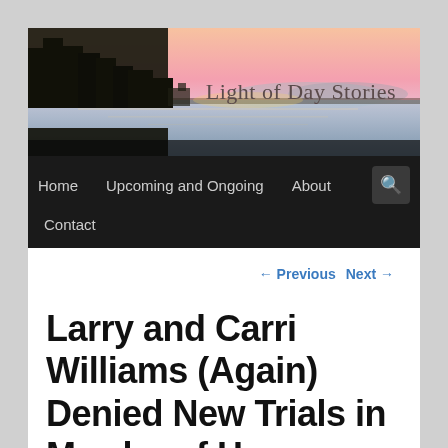[Figure (photo): Sunset over a lake with silhouetted trees and mountains in the background, warm pink and orange sky. Website banner image for 'Light of Day Stories'.]
Light of Day Stories
Home   Upcoming and Ongoing   About   Contact
← Previous   Next →
Larry and Carri Williams (Again) Denied New Trials in Murder of Hana